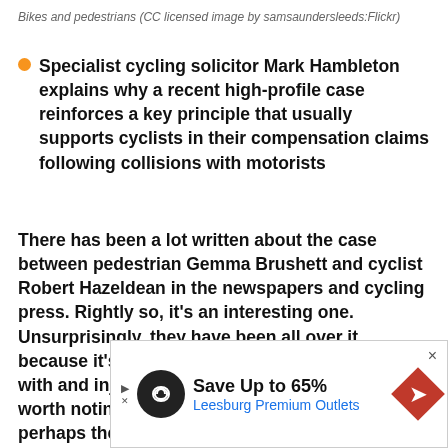Bikes and pedestrians (CC licensed image by samsaundersleeds:Flickr)
Specialist cycling solicitor Mark Hambleton explains why a recent high-profile case reinforces a key principle that usually supports cyclists in their compensation claims following collisions with motorists
There has been a lot written about the case between pedestrian Gemma Brushett and cyclist Robert Hazeldean in the newspapers and cycling press. Rightly so, it's an interesting one. Unsurprisingly, they have been all over it because it's a rare example of a cyclist colliding with and injuring a pedestrian. Of course, it's worth noting the cyclist was also injured, so perhaps the infrequency of such events is what makes it interesting, or perhaps journalists can't pass up the opportunity to demon[strate that] cycli[sts can pose a risk to pedestrians, compar]ison with [motorists...]
[Figure (other): Advertisement overlay: Save Up to 65% - Leesburg Premium Outlets with logo icons and close button]